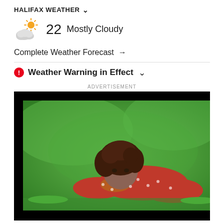HALIFAX WEATHER ∨
22 Mostly Cloudy
Complete Weather Forecast →
⚠ Weather Warning in Effect ∨
ADVERTISEMENT
[Figure (photo): Advertisement image showing a young woman with curly hair wearing a red polka dot dress, lying on green grass and smiling at the camera.]